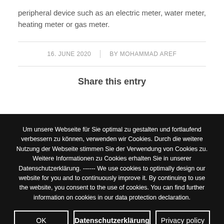peripheral device such as an electric meter, water meter, heating meter or gas meter.
16. JUNE 2020  |  BY MOHAMMAD AREF
Share this entry
Um unsere Webseite für Sie optimal zu gestalten und fortlaufend verbessern zu können, verwenden wir Cookies. Durch die weitere Nutzung der Webseite stimmen Sie der Verwendung von Cookies zu. Weitere Informationen zu Cookies erhalten Sie in unserer Datenschutzerklärung. ------ We use cookies to optimally design our website for you and to continuously improve it. By continuing to use the website, you consent to the use of cookies. You can find further information on cookies in our data protection declaration.
OK  |  Datenschutzerklärung  |  Privacy policy